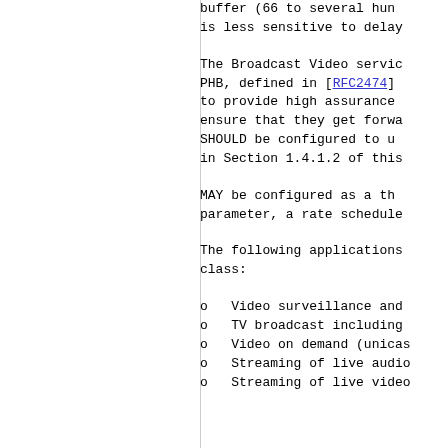buffer (66 to several hundred milliseconds) is less sensitive to delay
The Broadcast Video service class uses the CS3 PHB, defined in [RFC2474], to provide high assurance of delivery and to ensure that they get forwarded. Routers SHOULD be configured to use the settings in Section 1.4.1.2 of this
MAY be configured as a third configurable parameter, a rate schedule
The following applications belong to this class:
Video surveillance and
TV broadcast including
Video on demand (unicast
Streaming of live audio
Streaming of live video